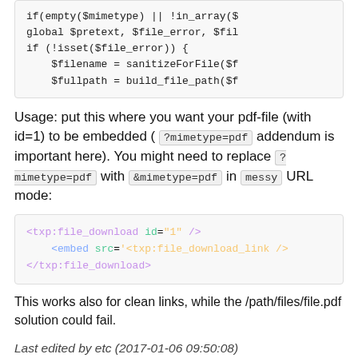[Figure (screenshot): Code block showing PHP snippet: if(empty($mimetype) || !in_array($ / global $pretext, $file_error, $fil / if (!isset($file_error)) { / $filename = sanitizeForFile($f / $fullpath = build_file_path($f]
Usage: put this where you want your pdf-file (with id=1) to be embedded ( ?mimetype=pdf addendum is important here). You might need to replace ?mimetype=pdf with &mimetype=pdf in messy URL mode:
[Figure (screenshot): XML code block: <txp:file_download id="1" /> <embed src='<txp:file_download_link /> </txp:file_download>]
This works also for clean links, while the /path/files/file.pdf solution could fail.
Last edited by etc (2017-01-06 09:50:08)